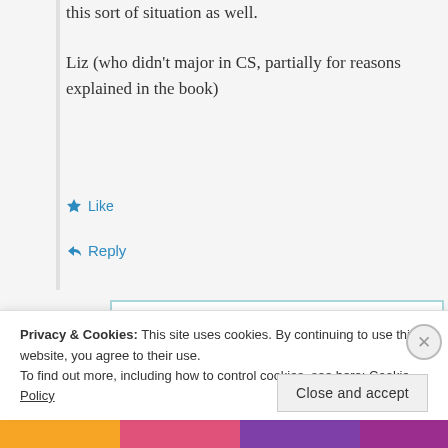this sort of situation as well.
Liz (who didn't major in CS, partially for reasons explained in the book)
Like
Reply
Andromeda
April 7, 2012 at 1:19 pm
Privacy & Cookies: This site uses cookies. By continuing to use this website, you agree to their use.
To find out more, including how to control cookies, see here: Cookie Policy
Close and accept